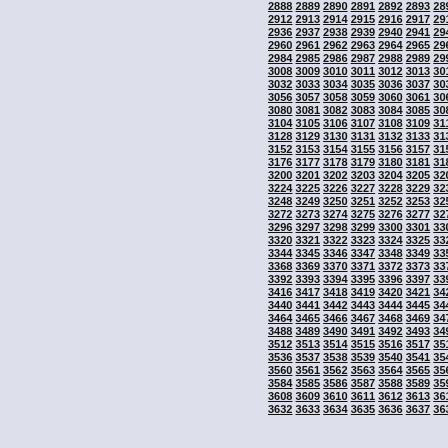Grid of sequential numbers from 2888 to 3642, displayed in rows of 11 numbers incrementing by 24 per row